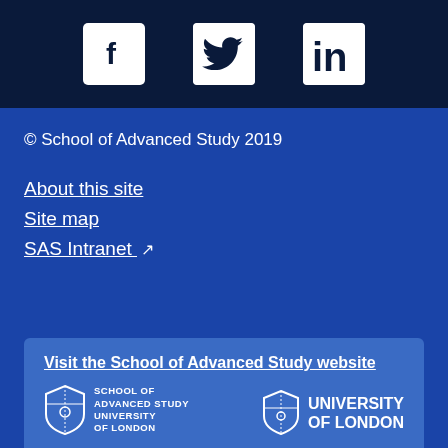[Figure (logo): Social media icons bar: Facebook, Twitter, LinkedIn icons in white on dark navy background]
© School of Advanced Study 2019
About this site
Site map
SAS Intranet (external link)
Visit the School of Advanced Study website
[Figure (logo): School of Advanced Study, University of London logo]
[Figure (logo): University of London logo]